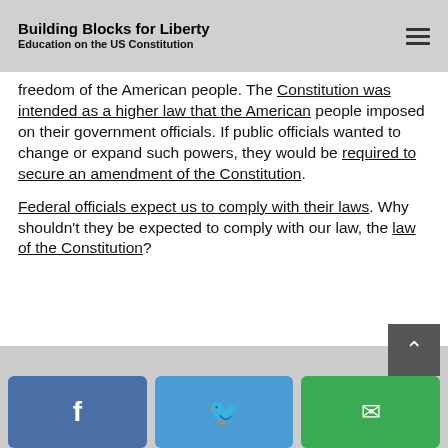Building Blocks for Liberty
Education on the US Constitution
freedom of the American people. The Constitution was intended as a higher law that the American people imposed on their government officials. If public officials wanted to change or expand such powers, they would be required to secure an amendment of the Constitution.
Federal officials expect us to comply with their laws. Why shouldn't they be expected to comply with our law, the law of the Constitution?